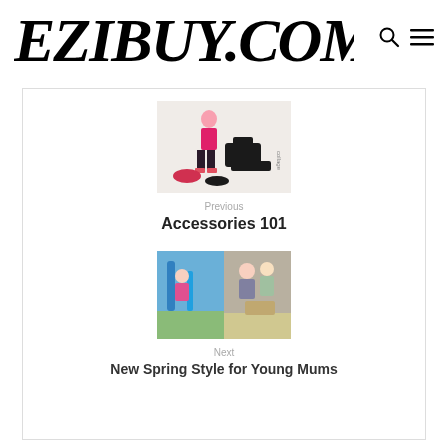EZIBUY.COM
[Figure (photo): Small product photo showing fashion accessories: handbag, pink top outfit, shoes, and accessories collage for 'Accessories 101']
Previous
Accessories 101
[Figure (photo): Small photo collage showing young women/mums in spring outdoor setting for 'New Spring Style for Young Mums']
Next
New Spring Style for Young Mums